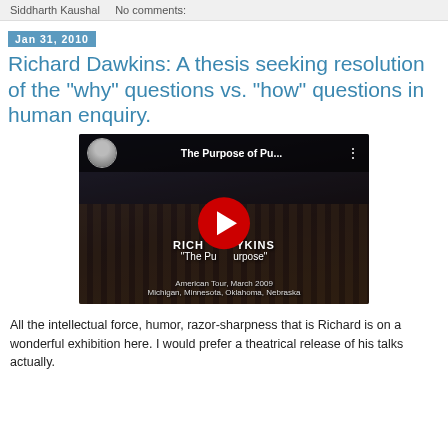Siddharth Kaushal    No comments:
Jan 31, 2010
Richard Dawkins: A thesis seeking resolution of the "why" questions vs. "how" questions in human enquiry.
[Figure (screenshot): YouTube video thumbnail showing Richard Dawkins lecture titled 'The Purpose of Pu...' with play button overlay. Text overlay reads 'RICHARD DAWKINS "The Purpose of Purpose"' and 'American Tour, March 2009 Michigan, Minnesota, Oklahoma, Nebraska']
All the intellectual force, humor, razor-sharpness that is Richard is on a wonderful exhibition here. I would prefer a theatrical release of his talks actually.